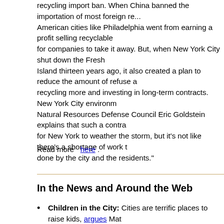recycling import ban. When China banned the importation of most foreign re... American cities like Philadelphia went from earning a profit selling recyclable for companies to take it away. But, when New York City shut down the Fresh Island thirteen years ago, it also created a plan to reduce the amount of refuse recycling more and investing in long-term contracts. New York City environm Natural Resources Defense Council Eric Goldstein explains that such a contr for New York to weather the storm, but it's not like there's a shortage of work done by the city and the residents."
Read more  here .
In the News and Around the Web
Children in the City: Cities are terrific places to raise kids, argues Mat
Where's Havana's Housing Policy?: Carlos Garcia Pleyana writes tha housing policy for its specific needs, history, and characteristics.
Urban Workers in India Would Work for Less for Security and Flex... suggests that workers in India would be willing to reduce their wages and flexibility.
The 45 Best Cities in Europe for Generation Z: The Nestpick Genera ranked 110 cities for livability. European Data Journalism network hig cities made the list.